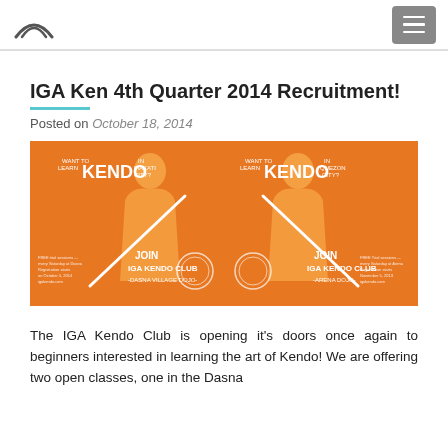IGA Kendo Club website header with logo and navigation menu
IGA Ken 4th Quarter 2014 Recruitment!
Posted on October 18, 2014
[Figure (illustration): Orange recruitment banner for IGA Kendo Club showing two kendo practitioners in silhouette facing each other. Left side: 'WANT TO LEARN KENDO IN MAKATI CITY? JOIN IGA KENDO CLUB -DASNA VILLAGE DOJO-'. Right side: 'WANT TO LEARN KENDO IN QUEZON CITY? JOIN IGA KENDO CLUB -ARENA DOJO-'. White text on orange background with decorative circular patterns.]
The IGA Kendo Club is opening it's doors once again to beginners interested in learning the art of Kendo! We are offering two open classes, one in the Dasna